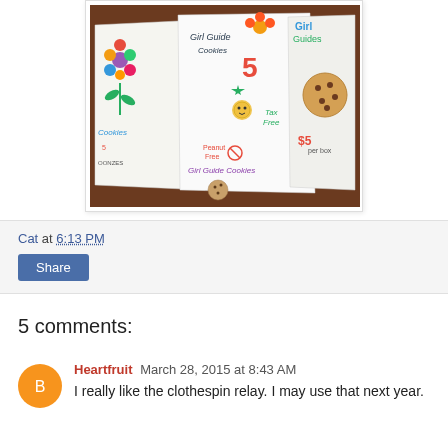[Figure (photo): Photo of hand-drawn Girl Guide cookie sale posters/signs on a table, with colorful drawings of cookies, flowers, price tags ($5), 'Tax Free', 'Peanut Free', 'Girl Guide Cookies' written in marker and crayon on white paper sheets.]
Cat at 6:13 PM
Share
5 comments:
Heartfruit March 28, 2015 at 8:43 AM
I really like the clothespin relay. I may use that next year.